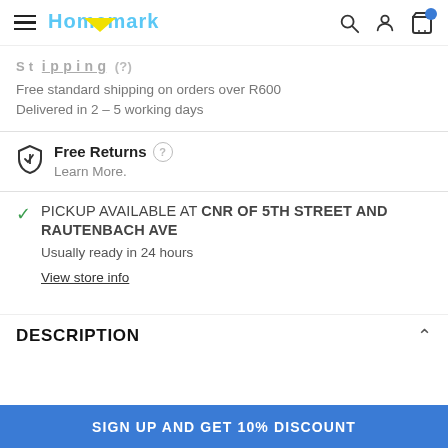Homemark — navigation bar with logo, search, account, cart
Free standard shipping on orders over R600
Delivered in 2 – 5 working days
Free Returns
Learn More.
PICKUP AVAILABLE AT CNR OF 5TH STREET AND RAUTENBACH AVE
Usually ready in 24 hours
View store info
DESCRIPTION
SIGN UP AND GET 10% DISCOUNT